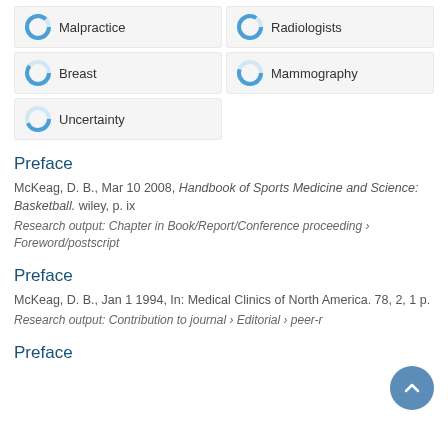Malpractice
Radiologists
Breast
Mammography
Uncertainty
Preface
McKeag, D. B., Mar 10 2008, Handbook of Sports Medicine and Science: Basketball. wiley, p. ix
Research output: Chapter in Book/Report/Conference proceeding › Foreword/postscript
Preface
McKeag, D. B., Jan 1 1994, In: Medical Clinics of North America. 78, 2, 1 p.
Research output: Contribution to journal › Editorial › peer-r
Preface